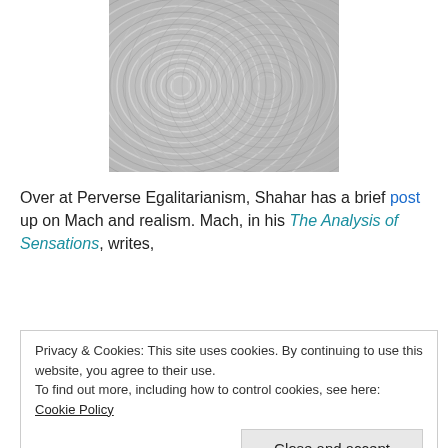[Figure (photo): Grayscale image of wave interference pattern, concentric ripples forming a moiré-like pattern against a light background.]
Over at Perverse Egalitarianism, Shahar has a brief post up on Mach and realism. Mach, in his The Analysis of Sensations, writes,
Privacy & Cookies: This site uses cookies. By continuing to use this website, you agree to their use.
To find out more, including how to control cookies, see here: Cookie Policy
[Close and accept]
every philosopher, the moment he is forced to abandon his